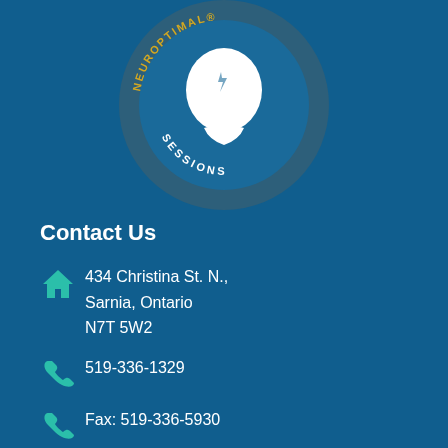[Figure (logo): NeurOptimal Sessions circular logo with a white silhouette head on dark blue background, gold text reading NEUROPTIMAL and white text reading SESSIONS around the circle]
Contact Us
434 Christina St. N.,
Sarnia, Ontario
N7T 5W2
519-336-1329
Fax: 519-336-5930